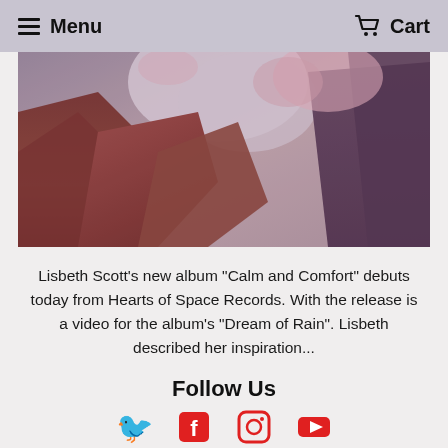Menu  Cart
[Figure (photo): Landscape photo of reddish-brown rocky terrain with a tree and purple-pink foliage, panoramic view]
Lisbeth Scott's new album "Calm and Comfort" debuts today from Hearts of Space Records. With the release is a video for the album's "Dream of Rain".  Lisbeth described her inspiration...
Follow Us
[Figure (infographic): Row of four social media icons in red: Twitter bird, Facebook F, Instagram camera, YouTube play button]
Contact Us